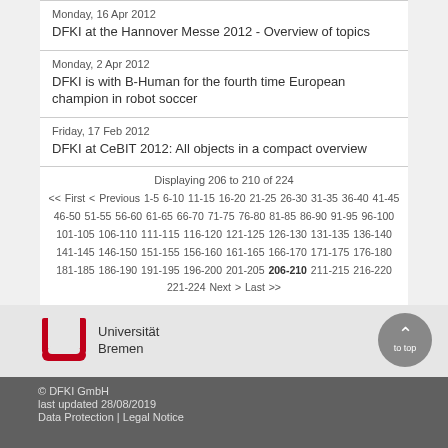Monday, 16 Apr 2012
DFKI at the Hannover Messe 2012 - Overview of topics
Monday, 2 Apr 2012
DFKI is with B-Human for the fourth time European champion in robot soccer
Friday, 17 Feb 2012
DFKI at CeBIT 2012: All objects in a compact overview
Displaying 206 to 210 of 224
<< First < Previous 1-5 6-10 11-15 16-20 21-25 26-30 31-35 36-40 41-45 46-50 51-55 56-60 61-65 66-70 71-75 76-80 81-85 86-90 91-95 96-100 101-105 106-110 111-115 116-120 121-125 126-130 131-135 136-140 141-145 146-150 151-155 156-160 161-165 166-170 171-175 176-180 181-185 186-190 191-195 196-200 201-205 206-210 211-215 216-220 221-224 Next > Last >>
[Figure (logo): Universität Bremen logo with U-shaped red symbol and text]
© DFKI GmbH
last updated 28/08/2019
Data Protection | Legal Notice